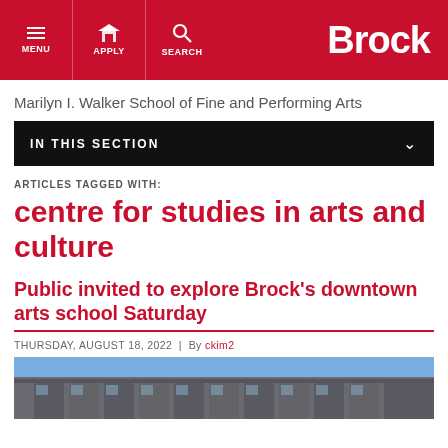MENU | APPLY | SEARCH | Brock
Marilyn I. Walker School of Fine and Performing Arts
IN THIS SECTION
ARTICLES TAGGED WITH:
centre for studies in arts and culture
Public invited to explore Brock's downtown arts school Saturday
THURSDAY, AUGUST 18, 2022 | By ckim2
[Figure (photo): Exterior photograph of Brock University downtown arts school building with blue sky]